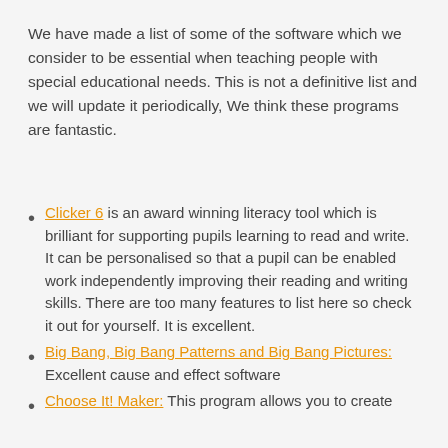We have made a list of some of the software which we consider to be essential when teaching people with special educational needs. This is not a definitive list and we will update it periodically, We think these programs are fantastic.
Clicker 6 is an award winning literacy tool which is brilliant for supporting pupils learning to read and write. It can be personalised so that a pupil can be enabled work independently improving their reading and writing skills. There are too many features to list here so check it out for yourself. It is excellent.
Big Bang, Big Bang Patterns and Big Bang Pictures: Excellent cause and effect software
Choose It! Maker: This program allows you to create